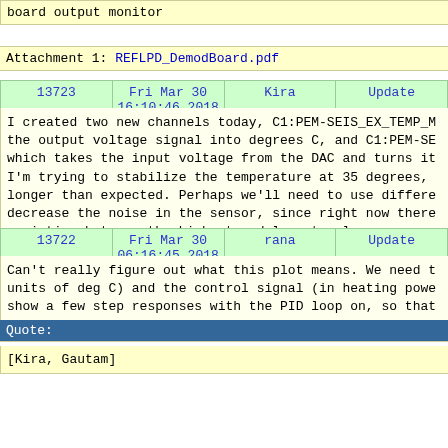board output monitor
Attachment 1: REFLPD_DemodBoard.pdf
| 13723 | Fri Mar 30 16:10:46 2018 | Kira | Update |
| --- | --- | --- | --- |
I created two new channels today, C1:PEM-SEIS_EX_TEMP_M the output voltage signal into degrees C, and C1:PEM-SE which takes the input voltage from the DAC and turns it I'm trying to stabilize the temperature at 35 degrees, longer than expected. Perhaps we'll need to use differe decrease the noise in the sensor, since right now there variation between the highest and lowest values.
| 13722 | Fri Mar 30 06:16:45 2018 | rana | Update |
| --- | --- | --- | --- |
Can't really figure out what this plot means. We need t units of deg C) and the control signal (in heating powe show a few step responses with the PID loop on, so that response time. Please zoom in on the axes so that we ca
Quote:
[Kira, Gautam]